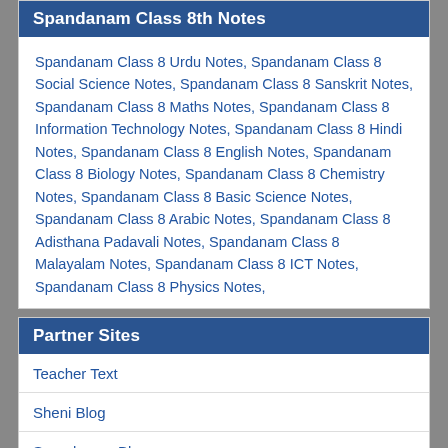Spandanam Class 8th Notes
Spandanam Class 8 Urdu Notes, Spandanam Class 8 Social Science Notes, Spandanam Class 8 Sanskrit Notes, Spandanam Class 8 Maths Notes, Spandanam Class 8 Information Technology Notes, Spandanam Class 8 Hindi Notes, Spandanam Class 8 English Notes, Spandanam Class 8 Biology Notes, Spandanam Class 8 Chemistry Notes, Spandanam Class 8 Basic Science Notes, Spandanam Class 8 Arabic Notes, Spandanam Class 8 Adisthana Padavali Notes, Spandanam Class 8 Malayalam Notes, Spandanam Class 8 ICT Notes, Spandanam Class 8 Physics Notes,
Partner Sites
Teacher Text
Sheni Blog
Spandanam Blog
Globaldias
LMSTULL
Online Teer Result